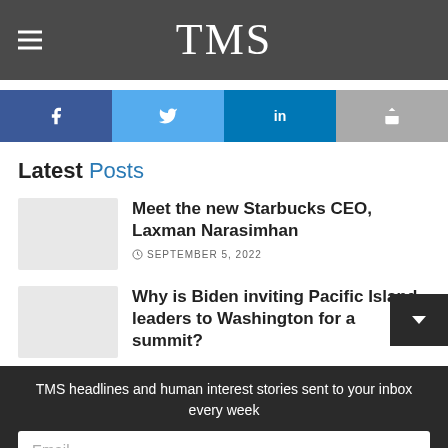TMS
[Figure (other): Social share buttons: Facebook, Twitter, LinkedIn, Share]
Latest Posts
Meet the new Starbucks CEO, Laxman Narasimhan
SEPTEMBER 5, 2022
Why is Biden inviting Pacific Island leaders to Washington for a summit?
TMS headlines and human interest stories sent to your inbox every week
Email
Join the community